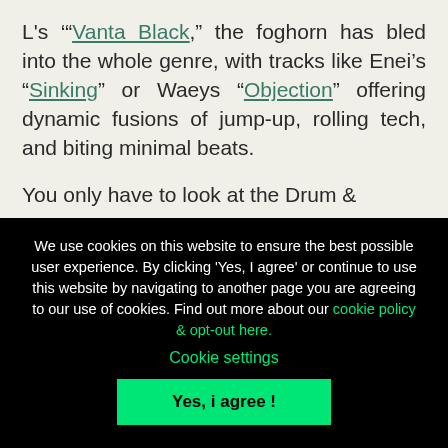L's ‘“Vanta Black,” the foghorn has bled into the whole genre, with tracks like Enei’s “Sinking” or Waeys “Objection” offering dynamic fusions of jump-up, rolling tech, and biting minimal beats.
You only have to look at the Drum &
We use cookies on this website to ensure the best possible user experience. By clicking 'Yes, I agree' or continue to use this website by navigating to another page you are agreeing to our use of cookies. Find out more about our cookie policy & opt-out here.
Cookie settings
Yes, i agree !